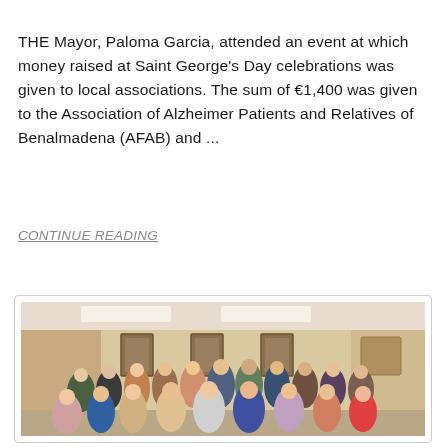THE Mayor, Paloma Garcia, attended an event at which money raised at Saint George's Day celebrations was given to local associations. The sum of €1,400 was given to the Association of Alzheimer Patients and Relatives of Benalmadena (AFAB) and ...
CONTINUE READING
[Figure (photo): Group photo of approximately 30 people standing together in an indoor room with yellow walls, framed pictures on the wall, and fluorescent ceiling lights. The group appears to be at a formal or community event.]